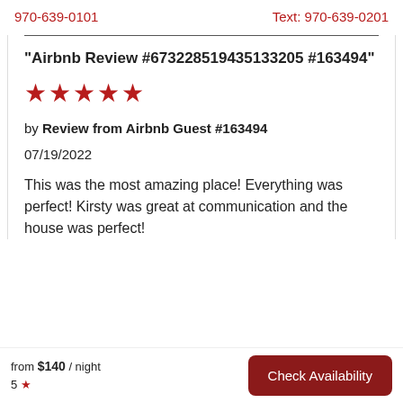970-639-0101   Text: 970-639-0201
"Airbnb Review #673228519435133205 #163494"
[Figure (other): Five red star rating icons]
by Review from Airbnb Guest #163494
07/19/2022
This was the most amazing place! Everything was perfect! Kirsty was great at communication and the house was perfect!
from $140 / night   5 ★   Check Availability